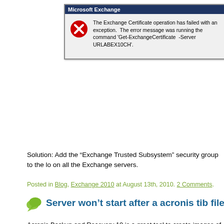[Figure (screenshot): Microsoft Exchange error dialog box with red X icon. Title bar reads 'Microsoft Exchange'. Body text: 'The Exchange Certificate operation has failed with an exception. The error message was running the command Get-ExchangeCertificate -Server URLABEX10CH'.]
Solution: Add the “Exchange Trusted Subsystem” security group to the lo on all the Exchange servers.
Posted in Blog, Exchange 2010 at August 13th, 2010. 2 Comments.
Server won’t start after a acronis tib file recovery
Acronis Backup and Recovery 10 is a great tool to create images of disks can make images when windows is running and restore then easy with a physical hardware. When using Acronis Backup and Recovery 10 Advanc you can recover directly to a Hyper-V or other virtual machine.
To recover a image to a Hyper-V virtual machine you need to start the acr choose for recover point to the image files, choose what to recover, volum